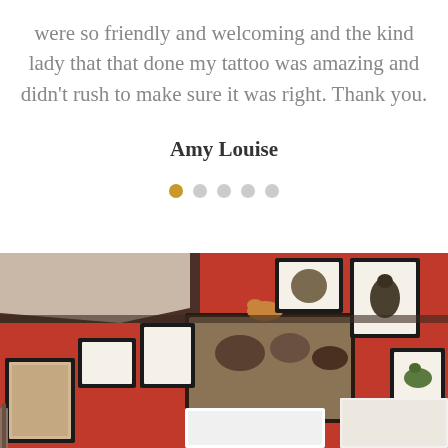were so friendly and welcoming and the kind lady that that done my tattoo was amazing and didn't rush to make sure it was right. Thank you.
Amy Louise
[Figure (photo): Interior room with red walls covered in framed pictures and mounted animal taxidermy displays, with decorative crown molding on the ceiling.]